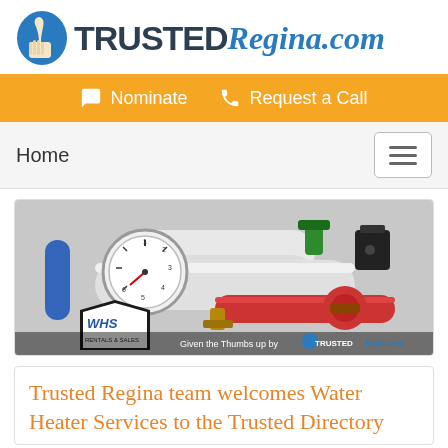[Figure (logo): TrustedRegina.com logo with blue thumbs up icon, bold dark text TRUSTED and italic blue script Regina.com]
Nominate   Request a Call
Home
[Figure (photo): Photo of water heater plumbing pipes, pressure gauge, brass fittings and valves. WHS Rentals & Sales logo visible bottom left. Caption: Given the Thumbs up by TrustedRegina.com]
Trusted Regina team welcomes Water Heater Services to the Trusted Directory